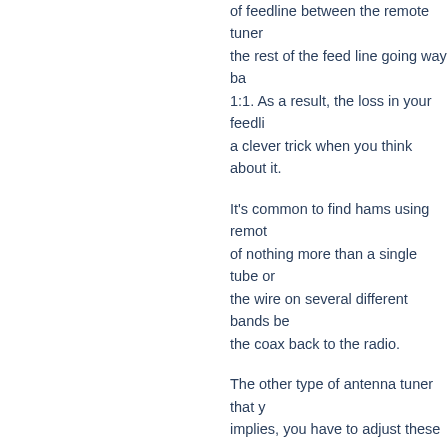of feedline between the remote tuner and the rest of the feed line going way back 1:1. As a result, the loss in your feedli a clever trick when you think about it.
It's common to find hams using remot of nothing more than a single tube or the wire on several different bands be the coax back to the radio.
The other type of antenna tuner that y implies, you have to adjust these your have three primary controls. There wil capacitors so you can change their se will also be a control for the inductor.
This could be a knob that continuously a variable inductor — or simply a swit of inductance. Many manual antenna you can see the SWR.
Using a Tuner